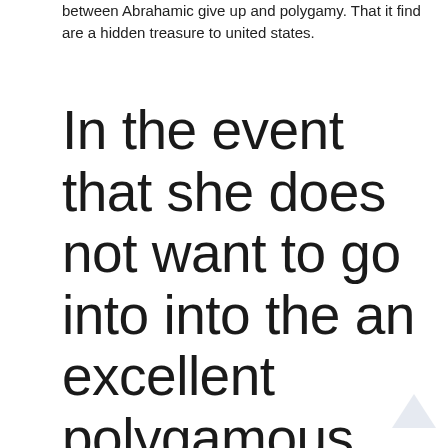between Abrahamic give up and polygamy. That it find are a hidden treasure to united states.
In the event that she does not want to go into into the an excellent polygamous matchmaking…next you will find some body for her to make a good monogamous experience of and you